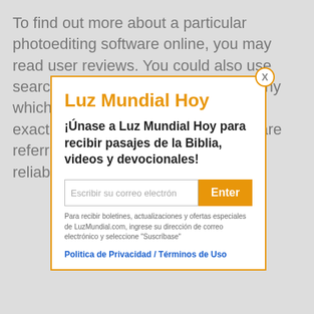To find out more about a particular photoediting software online, you may read user reviews. You could also use search engines to look up the company which produces the program and see exactly what other men and women are referring to. You will know which ones are reliable t...
[Figure (screenshot): Modal popup overlay for 'Luz Mundial Hoy' newsletter signup with orange border, title, Spanish text, email input field, Enter button, and privacy policy links.]